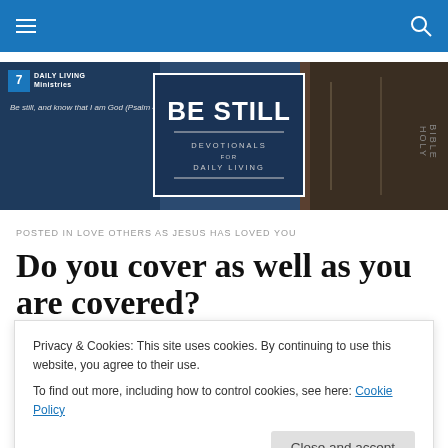Daily Living Ministries - navigation bar
[Figure (screenshot): Website banner for Daily Living Ministries showing 'BE STILL DEVOTIONALS FOR DAILY LIVING' logo with a dark blue background and a Holy Bible image on the right. Tagline: Be still, and know that I am God (Psalm 46:10)]
POSTED IN LOVE OTHERS AS JESUS HAS LOVED YOU
Do you cover as well as you are covered?
Privacy & Cookies: This site uses cookies. By continuing to use this website, you agree to their use.
To find out more, including how to control cookies, see here: Cookie Policy
Close and accept
Above all, love each other deeply, because love covers